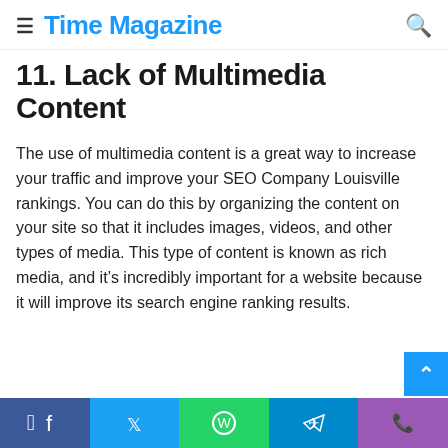Time Magazine
11. Lack of Multimedia Content
The use of multimedia content is a great way to increase your traffic and improve your SEO Company Louisville rankings. You can do this by organizing the content on your site so that it includes images, videos, and other types of media. This type of content is known as rich media, and it’s incredibly important for a website because it will improve its search engine ranking results.
Facebook  Twitter  WhatsApp  Telegram  Phone